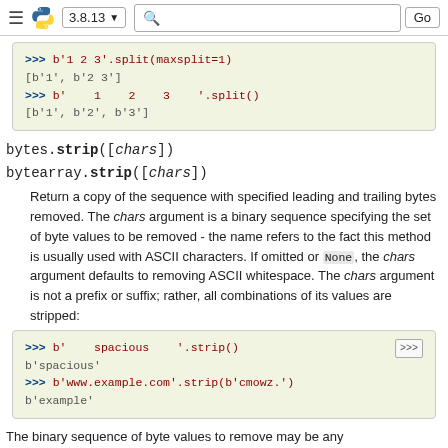3.8.13 | Go
[Figure (screenshot): Python code block showing b'1 2 3'.split(maxsplit=1) => [b'1', b'2 3'] and b'  1  2  3  '.split() => [b'1', b'2', b'3']]
bytes.strip([chars])
bytearray.strip([chars])
Return a copy of the sequence with specified leading and trailing bytes removed. The chars argument is a binary sequence specifying the set of byte values to be removed - the name refers to the fact this method is usually used with ASCII characters. If omitted or None, the chars argument defaults to removing ASCII whitespace. The chars argument is not a prefix or suffix; rather, all combinations of its values are stripped:
[Figure (screenshot): Python code block showing b'   spacious   '.strip() => b'spacious' and b'www.example.com'.strip(b'cmowz.') => b'example']
The binary sequence of byte values to remove may be any